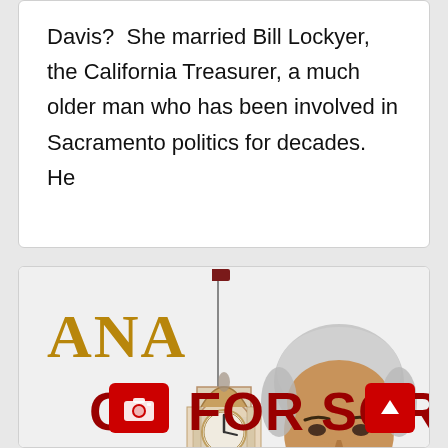Davis?  She married Bill Lockyer, the California Treasurer, a much older man who has been involved in Sacramento politics for decades.  He
[Figure (photo): A news article image showing a clock tower building with a flag on top, partially visible gold letters 'ANA' on the left, a man's face (older Hispanic-looking man with grey hair) on the right, and a red bold headline at the bottom reading 'ON FOR SOR' (partially cut off). Two red icon buttons (camera and up-arrow) are overlaid at the bottom.]